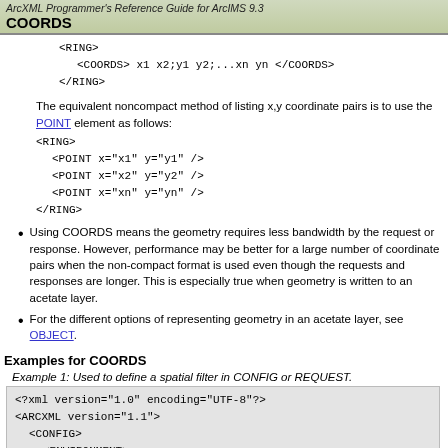ArcXML Programmer's Reference Guide for ArcIMS 9.3
COORDS
<RING>
  <COORDS> x1 x2;y1 y2;...xn yn </COORDS>
</RING>
The equivalent noncompact method of listing x,y coordinate pairs is to use the POINT element as follows:
<RING>
  <POINT x="x1" y="y1" />
  <POINT x="x2" y="y2" />
  <POINT x="xn" y="yn" />
</RING>
Using COORDS means the geometry requires less bandwidth by the request or response. However, performance may be better for a large number of coordinate pairs when the non-compact format is used even though the requests and responses are longer. This is especially true when geometry is written to an acetate layer.
For the different options of representing geometry in an acetate layer, see OBJECT.
Examples for COORDS
Example 1: Used to define a spatial filter in CONFIG or REQUEST.
<?xml version="1.0" encoding="UTF-8"?>
<ARCXML version="1.1">
  <CONFIG>
    <ENVIRONMENT>
      <SCALE ...